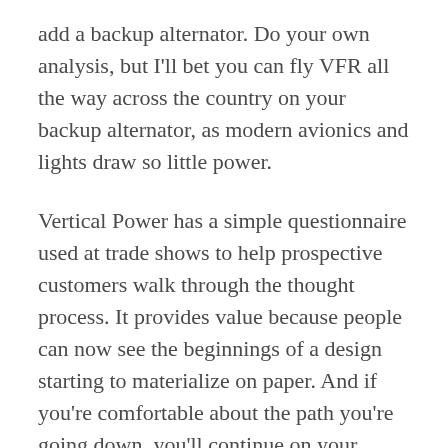add a backup alternator. Do your own analysis, but I'll bet you can fly VFR all the way across the country on your backup alternator, as modern avionics and lights draw so little power.
Vertical Power has a simple questionnaire used at trade shows to help prospective customers walk through the thought process. It provides value because people can now see the beginnings of a design starting to materialize on paper. And if you're comfortable about the path you're going down, you'll continue on your journey. Yes, write down your thoughts and basic guidelines, and then use those continuously as a reference when you're deciding how to equip the aircraft.